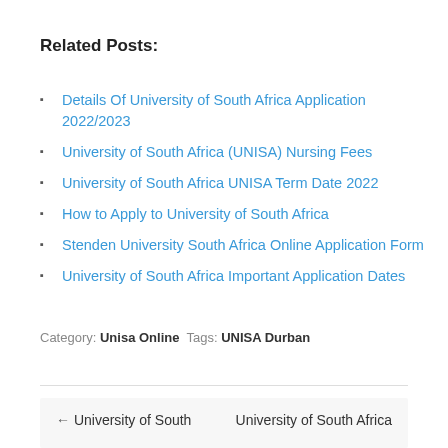Related Posts:
Details Of University of South Africa Application 2022/2023
University of South Africa (UNISA) Nursing Fees
University of South Africa UNISA Term Date 2022
How to Apply to University of South Africa
Stenden University South Africa Online Application Form
University of South Africa Important Application Dates
Category: Unisa Online  Tags: UNISA Durban
← University of South  University of South Africa